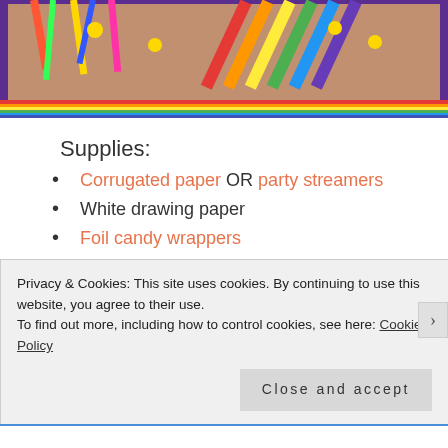[Figure (photo): Colorful craft supplies photo with streamers, paper strips in rainbow colors against a purple/orange border]
Supplies:
Corrugated paper OR party streamers
White drawing paper
Foil candy wrappers
Gold Ribbon (5/8" Lurex)
Plastic shopping bags
Marker or Pen
Scissors
Privacy & Cookies: This site uses cookies. By continuing to use this website, you agree to their use.
To find out more, including how to control cookies, see here: Cookie Policy
Close and accept